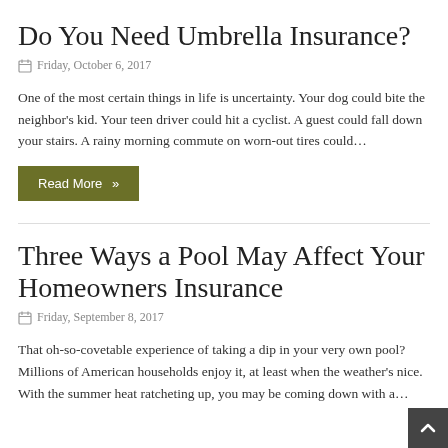Do You Need Umbrella Insurance?
Friday, October 6, 2017
One of the most certain things in life is uncertainty. Your dog could bite the neighbor's kid. Your teen driver could hit a cyclist. A guest could fall down your stairs. A rainy morning commute on worn-out tires could…
Read More »
Three Ways a Pool May Affect Your Homeowners Insurance
Friday, September 8, 2017
That oh-so-covetable experience of taking a dip in your very own pool? Millions of American households enjoy it, at least when the weather's nice. With the summer heat ratcheting up, you may be coming down with a…